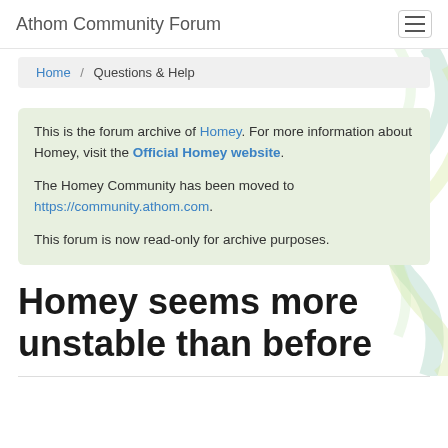Athom Community Forum
Home / Questions & Help
This is the forum archive of Homey. For more information about Homey, visit the Official Homey website.

The Homey Community has been moved to https://community.athom.com.

This forum is now read-only for archive purposes.
Homey seems more unstable than before